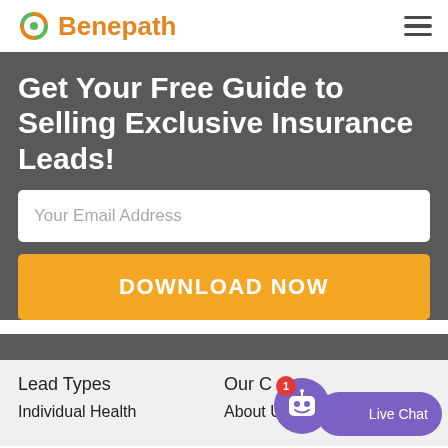Benepath
Get Your Free Guide to Selling Exclusive Insurance Leads!
Your Email Address
DOWNLOAD NOW
Lead Types
Our C
Individual Health
About Us
[Figure (other): Live Chat widget with robot avatar and red notification badge showing '1']